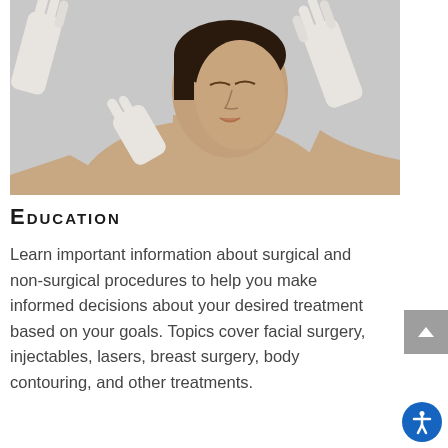[Figure (photo): A woman with eyes closed being examined by gloved hands touching her face and neck, suggesting a plastic surgery or cosmetic consultation setting. Light gray background.]
Education
Learn important information about surgical and non-surgical procedures to help you make informed decisions about your desired treatment based on your goals. Topics cover facial surgery, injectables, lasers, breast surgery, body contouring, and other treatments.